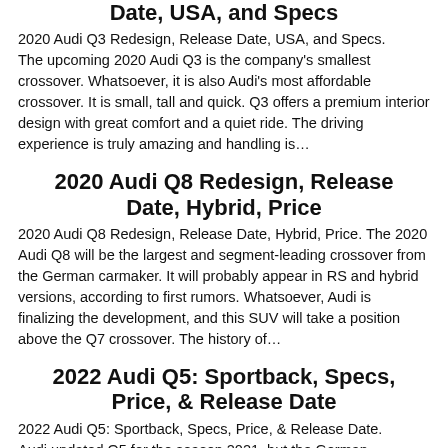Date, USA, and Specs
2020 Audi Q3 Redesign, Release Date, USA, and Specs. The upcoming 2020 Audi Q3 is the company's smallest crossover. Whatsoever, it is also Audi's most affordable crossover. It is small, tall and quick. Q3 offers a premium interior design with great comfort and a quiet ride. The driving experience is truly amazing and handling is…
2020 Audi Q8 Redesign, Release Date, Hybrid, Price
2020 Audi Q8 Redesign, Release Date, Hybrid, Price. The 2020 Audi Q8 will be the largest and segment-leading crossover from the German carmaker. It will probably appear in RS and hybrid versions, according to first rumors. Whatsoever, Audi is finalizing the development, and this SUV will take a position above the Q7 crossover. The history of…
2022 Audi Q5: Sportback, Specs, Price, & Release Date
2022 Audi Q5: Sportback, Specs, Price, & Release Date. Audi updated Q5 for the season 2021, but the German company is not stopping there. The next 2022 Audi Q5 will bring the